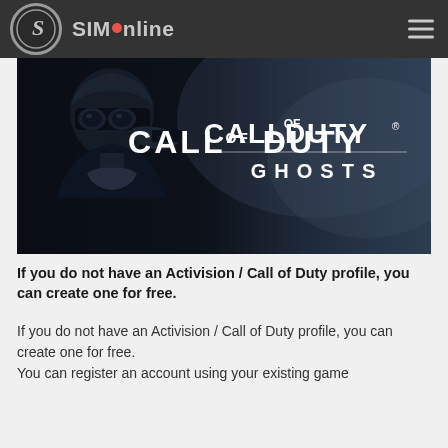SIMOnline
[Figure (photo): Call of Duty Ghosts game banner featuring a soldier in a mask on the left and the Call of Duty Ghosts logo on the right against a dark smoky background]
If you do not have an Activision / Call of Duty profile, you can create one for free.
If you do not have an Activision / Call of Duty profile, you can create one for free.
You can register an account using your existing game